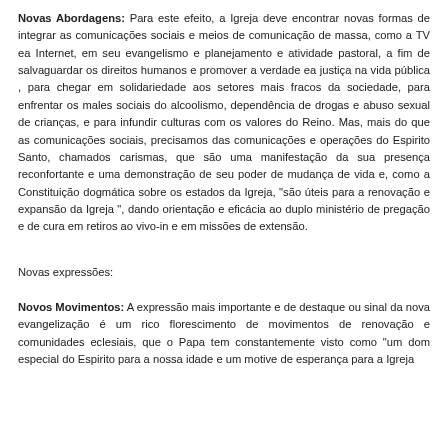Novas Abordagens: Para este efeito, a Igreja deve encontrar novas formas de integrar as comunicações sociais e meios de comunicação de massa, como a TV ea Internet, em seu evangelismo e planejamento e atividade pastoral, a fim de salvaguardar os direitos humanos e promover a verdade ea justiça na vida pública , para chegar em solidariedade aos setores mais fracos da sociedade, para enfrentar os males sociais do alcoolismo, dependência de drogas e abuso sexual de crianças, e para infundir culturas com os valores do Reino. Mas, mais do que as comunicações sociais, precisamos das comunicações e operações do Espirito Santo, chamados carismas, que são uma manifestação da sua presença reconfortante e uma demonstração de seu poder de mudança de vida e, como a Constituição dogmática sobre os estados da Igreja, "são úteis para a renovação e expansão da Igreja ", dando orientação e eficácia ao duplo ministério de pregação e de cura em retiros ao vivo-in e em missões de extensão.
Novas expressões:
Novos Movimentos: A expressão mais importante e de destaque ou sinal da nova evangelização é um rico florescimento de movimentos de renovação e comunidades eclesiais, que o Papa tem constantemente visto como "um dom especial do Espirito para a nossa idade e um motive de esperança para a Igreja.